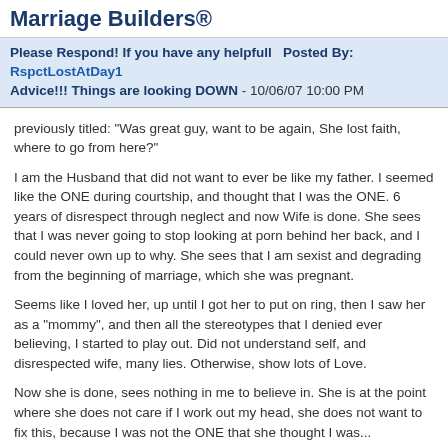Marriage Builders®
Please Respond! If you have any helpfull Advice!!! Things are looking DOWN  Posted By: RspctLostAtDay1 - 10/06/07 10:00 PM
previously titled: "Was great guy, want to be again, She lost faith, where to go from here?"
I am the Husband that did not want to ever be like my father. I seemed like the ONE during courtship, and thought that I was the ONE. 6 years of disrespect through neglect and now Wife is done. She sees that I was never going to stop looking at porn behind her back, and I could never own up to why. She sees that I am sexist and degrading from the beginning of marriage, which she was pregnant.
Seems like I loved her, up until I got her to put on ring, then I saw her as a "mommy", and then all the stereotypes that I denied ever believing, I started to play out. Did not understand self, and disrespected wife, many lies. Otherwise, show lots of Love.
Now she is done, sees nothing in me to believe in. She is at the point where she does not care if I work out my head, she does not want to fix this, because I was not the ONE that she thought I was...
I am only owning up, and trying to change now that I do not have the "upper hand" that I thought I had. Please, is there enough reason for her to want me to stay?